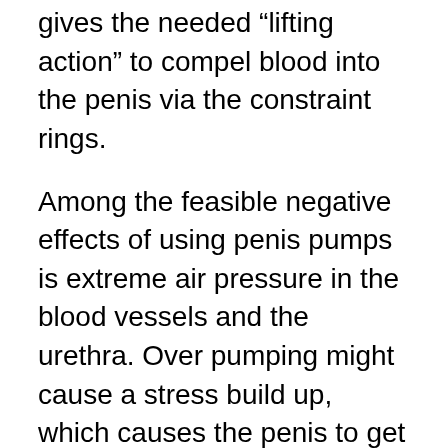gives the needed “lifting action” to compel blood into the penis via the constraint rings.
Among the feasible negative effects of using penis pumps is extreme air pressure in the blood vessels and the urethra. Over pumping might cause a stress build up, which causes the penis to get puffy. This can cause urine to leak from the bladder as well as trigger discomfort and also burning experiences when peing. There is additionally a boosted opportunity for infections when the atmospheric pressure accumulates excessive in the tubes. Some guys have also experienced urinary system infections when over pumping.
While...